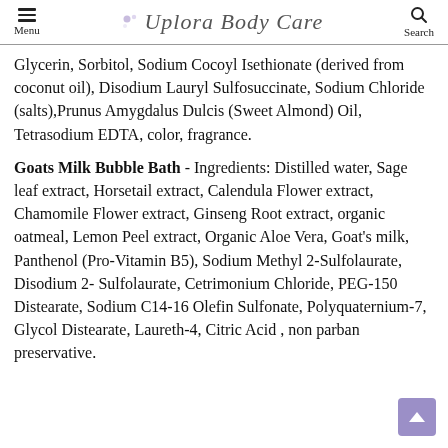Menu | Uplora Body Care | Search
Glycerin, Sorbitol, Sodium Cocoyl Isethionate (derived from coconut oil), Disodium Lauryl Sulfosuccinate, Sodium Chloride (salts),Prunus Amygdalus Dulcis (Sweet Almond) Oil, Tetrasodium EDTA, color, fragrance.
Goats Milk Bubble Bath - Ingredients: Distilled water, Sage leaf extract, Horsetail extract, Calendula Flower extract, Chamomile Flower extract, Ginseng Root extract, organic oatmeal, Lemon Peel extract, Organic Aloe Vera, Goat’s milk, Panthenol (Pro-Vitamin B5), Sodium Methyl 2-Sulfolaurate, Disodium 2- Sulfolaurate, Cetrimonium Chloride, PEG-150 Distearate, Sodium C14-16 Olefin Sulfonate, Polyquaternium-7, Glycol Distearate, Laureth-4, Citric Acid , non parban preservative.